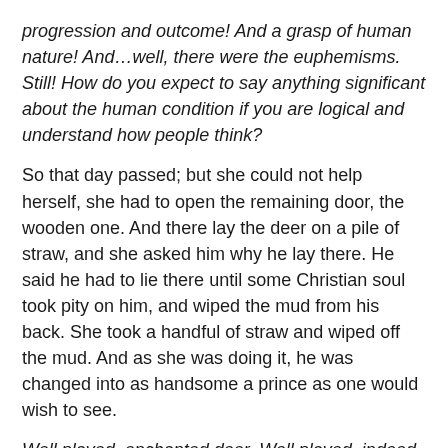progression and outcome! And a grasp of human nature! And…well, there were the euphemisms. Still! How do you expect to say anything significant about the human condition if you are logical and understand how people think?
So that day passed; but she could not help herself, she had to open the remaining door, the wooden one. And there lay the deer on a pile of straw, and she asked him why he lay there. He said he had to lie there until some Christian soul took pity on him, and wiped the mud from his back. She took a handful of straw and wiped off the mud. And as she was doing it, he was changed into as handsome a prince as one would wish to see.
Well played, enchanted deer. Well played, indeed.
He explained to her that he and the whole castle had been enchanted; but that now all was well and they would celebrate their wedding. And a fine wedding it was, lasting several days.